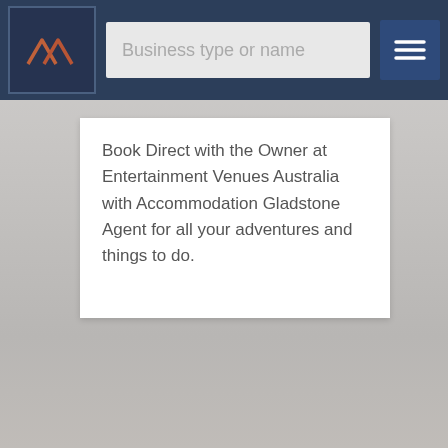[Figure (logo): Mountain/roof logo mark with two overlapping triangles in terracotta/copper color on dark navy background]
Business type or name
[Figure (illustration): Hamburger menu icon (three horizontal lines) on dark blue button]
Book Direct with the Owner at Entertainment Venues Australia with Accommodation Gladstone Agent for all your adventures and things to do.
[Figure (photo): Blurred coastal/waterfront sunset photo background in muted greys and warm tones]